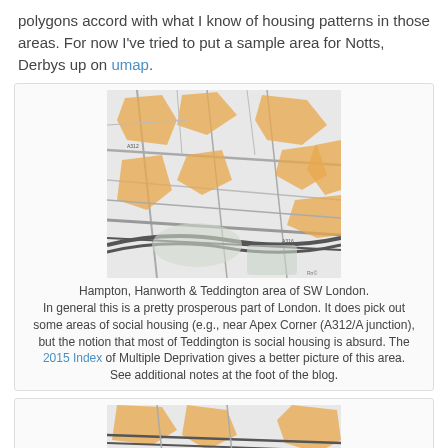polygons accord with what I know of housing patterns in those areas. For now I've tried to put a sample area for Notts, Derbys up on umap.
[Figure (map): Map of Hampton, Hanworth & Teddington area of SW London showing orange highlighted polygons over a grey street/area map.]
Hampton, Hanworth & Teddington area of SW London. In general this is a pretty prosperous part of London. It does pick out some areas of social housing (e.g., near Apex Corner (A312/A junction), but the notion that most of Teddington is social housing is absurd. The 2015 Index of Multiple Deprivation gives a better picture of this area. See additional notes at the foot of the blog.
[Figure (map): Partial map image at bottom of page, similar orange-highlighted area map, cropped.]